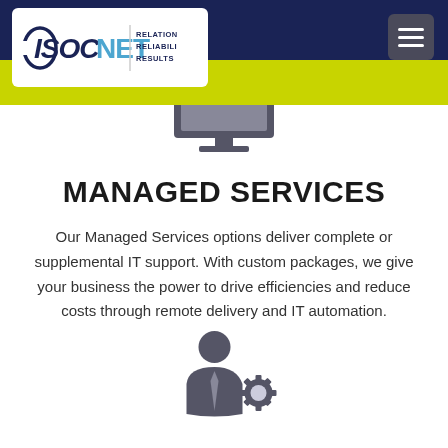ISOCNET | RELATIONSHIPS RELIABILITY RESULTS
[Figure (illustration): Computer monitor icon in dark gray at top center of page]
MANAGED SERVICES
Our Managed Services options deliver complete or supplemental IT support. With custom packages, we give your business the power to drive efficiencies and reduce costs through remote delivery and IT automation.
[Figure (illustration): Person with gear/settings icon in dark gray at bottom center of page]